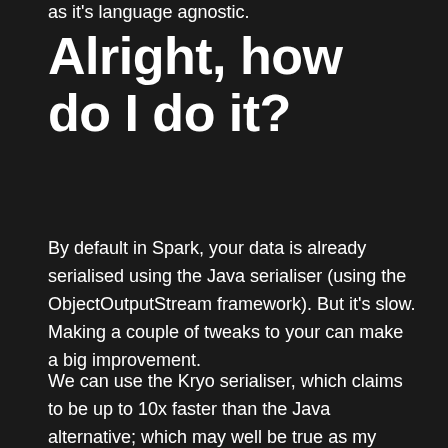as it's language agnostic.
Alright, how do I do it?
By default in Spark, your data is already serialised using the Java serialiser (using the ObjectOutputStream framework). But it's slow. Making a couple of tweaks to your can make a big improvement.
We can use the Kryo serialiser, which claims to be up to 10x faster than the Java alternative; which may well be true as my overall application executed 20% faster when switching to Kryo. That bought execution